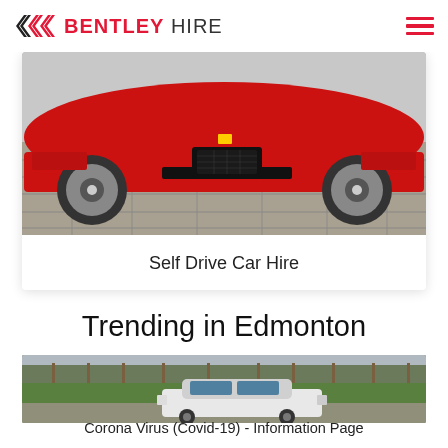BENTLEY HIRE
[Figure (photo): Red sports car (Ferrari) viewed from front-low angle on stone pavement, bright sunlight]
Self Drive Car Hire
Trending in Edmonton
[Figure (photo): White car driving on a road through countryside with trees and green fields in background]
Corona Virus (Covid-19) - Information Page